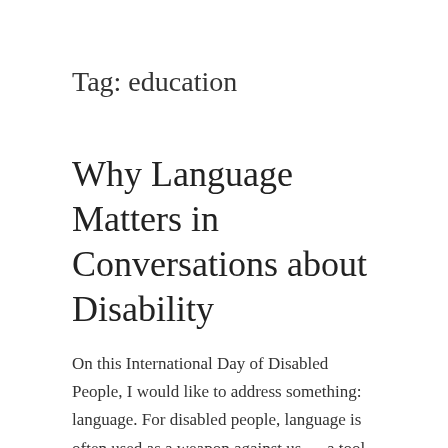Tag: education
Why Language Matters in Conversations about Disability
On this International Day of Disabled People, I would like to address something: language. For disabled people, language is often used as a weapon against us — a tool to keep us infantilised —, even by strangers. I had